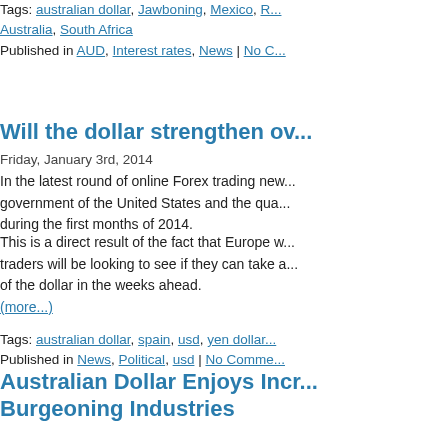Tags: australian dollar, Jawboning, Mexico, R... Australia, South Africa
Published in AUD, Interest rates, News | No C...
Will the dollar strengthen ov...
Friday, January 3rd, 2014
In the latest round of online Forex trading new... government of the United States and the qua... during the first months of 2014.
This is a direct result of the fact that Europe w... traders will be looking to see if they can take a... of the dollar in the weeks ahead.
(more...)
Tags: australian dollar, spain, usd, yen dollar...
Published in News, Political, usd | No Comme...
Australian Dollar Enjoys Incr... Burgeoning Industries
Thursday, November 22nd, 2012
The Australian Dollar enjoyed an increase ove... as manufacturing industries in China acquired... more of Australia's surplus requirements.